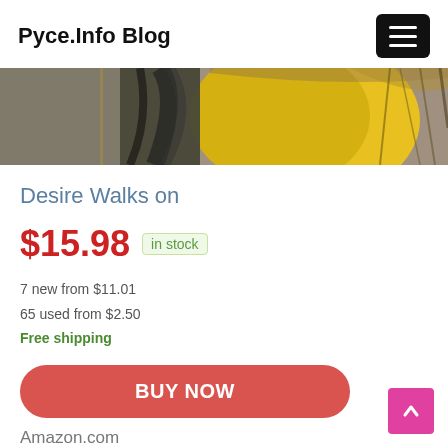Pyce.Info Blog
[Figure (photo): Hero image showing dark hair with yellow circle background]
Desire Walks on
$15.98 in stock
7 new from $11.01
65 used from $2.50
Free shipping
BUY NOW
Amazon.com